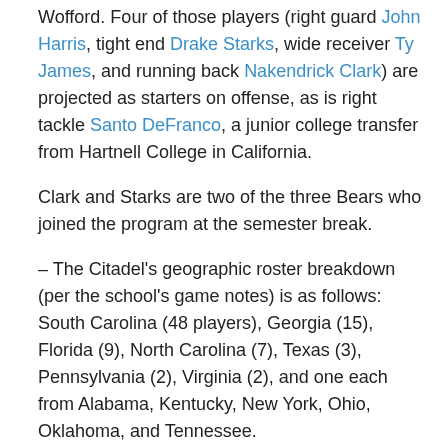Wofford. Four of those players (right guard John Harris, tight end Drake Starks, wide receiver Ty James, and running back Nakendrick Clark) are projected as starters on offense, as is right tackle Santo DeFranco, a junior college transfer from Hartnell College in California.
Clark and Starks are two of the three Bears who joined the program at the semester break.
– The Citadel's geographic roster breakdown (per the school's game notes) is as follows: South Carolina (48 players), Georgia (15), Florida (9), North Carolina (7), Texas (3), Pennsylvania (2), Virginia (2), and one each from Alabama, Kentucky, New York, Ohio, Oklahoma, and Tennessee.
Tight end Hayden Williamson played his high school football in Okinawa, Japan.